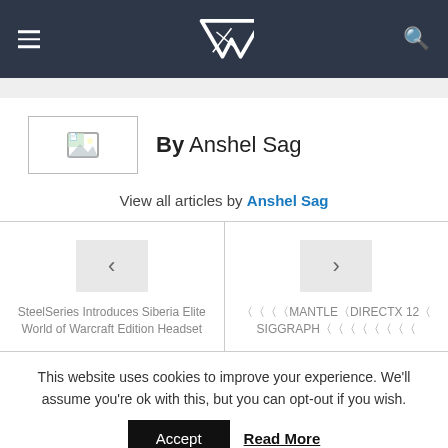VR website header with hamburger menu, VR logo, and search icon
[Figure (photo): Author avatar placeholder image with broken image icon]
By Anshel Sag
View all articles by Anshel Sag
SteelSeries Introduces Siberia Elite World of Warcraft Edition Headset
〈〈〈〈MANTLE〈DIRECTX 12〈 SIGGRAPH〈〈〈〈〈〈〈〈
This website uses cookies to improve your experience. We'll assume you're ok with this, but you can opt-out if you wish.
Accept  Read More